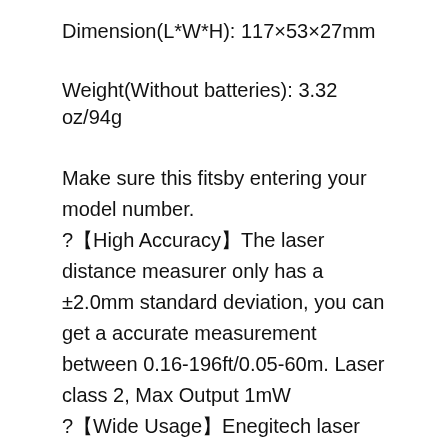Dimension(L*W*H): 117×53×27mm
Weight(Without batteries): 3.32 oz/94g
Make sure this fitsby entering your model number. ?【High Accuracy】The laser distance measurer only has a ±2.0mm standard deviation, you can get a accurate measurement between 0.16-196ft/0.05-60m. Laser class 2, Max Output 1mW ?【Wide Usage】Enegitech laser measuring device has a wide usage, you can use this to measure distance, area, volume accurately and also has a Pythagorean Mode, which is a great helper for your construction and renovation work. ?【Huge Data Storage】This tool can save maximum 99 data, you don't worry about losing data during